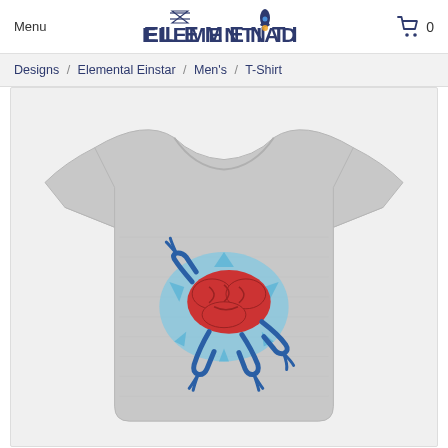Menu   ELEMENTIAD   0
Designs / Elemental Einstar / Men's / T-Shirt
[Figure (photo): A gray heathered men's t-shirt with a graphic on the front showing a red brain with blue cartoon arms and legs on a blue splash background, displayed on a light gray background.]